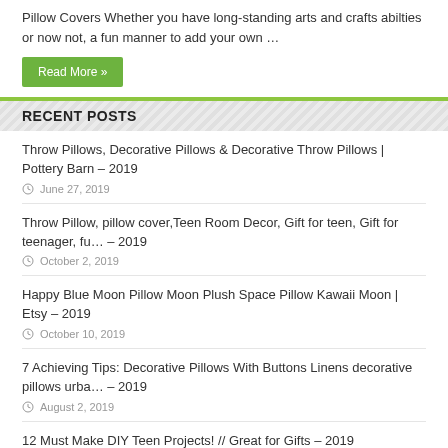Pillow Covers Whether you have long-standing arts and crafts abilties or now not, a fun manner to add your own …
Read More »
RECENT POSTS
Throw Pillows, Decorative Pillows & Decorative Throw Pillows | Pottery Barn – 2019
June 27, 2019
Throw Pillow, pillow cover,Teen Room Decor, Gift for teen, Gift for teenager, fu… – 2019
October 2, 2019
Happy Blue Moon Pillow Moon Plush Space Pillow Kawaii Moon | Etsy – 2019
October 10, 2019
7 Achieving Tips: Decorative Pillows With Buttons Linens decorative pillows urba… – 2019
August 2, 2019
12 Must Make DIY Teen Projects! // Great for Gifts – 2019